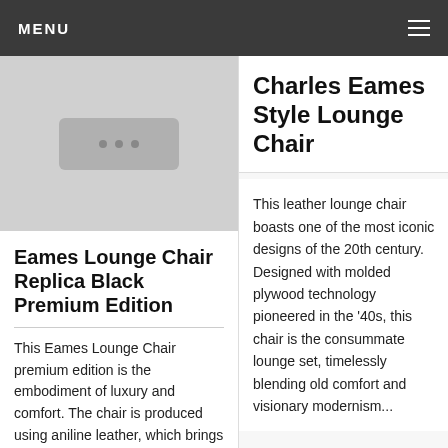MENU
[Figure (photo): Product image placeholder with three dots on gray background]
Eames Lounge Chair Replica Black Premium Edition
This Eames Lounge Chair premium edition is the embodiment of luxury and comfort. The chair is produced using aniline leather, which brings
Charles Eames Style Lounge Chair
This leather lounge chair boasts one of the most iconic designs of the 20th century. Designed with molded plywood technology pioneered in the '40s, this chair is the consummate lounge set, timelessly blending old comfort and visionary modernism...